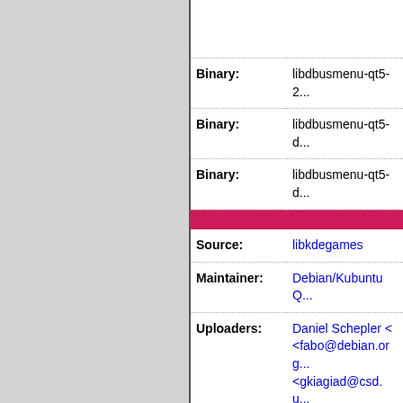| Field | Value |
| --- | --- |
| Binary: | libdbusmenu-qt5-2... |
| Binary: | libdbusmenu-qt5-d... |
| Binary: | libdbusmenu-qt5-d... |
| Source: | libkdegames |
| Maintainer: | Debian/Kubuntu Q... |
| Uploaders: | Daniel Schepler < ...
<fabo@debian.org...
<gkiagiad@csd.u... |
| Binary: | kdegames-card-da... |
| Binary: | libkf5kdegames-d... |